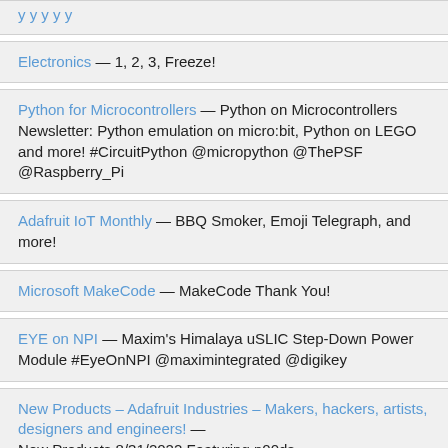Electronics — 1, 2, 3, Freeze!
Python for Microcontrollers — Python on Microcontrollers Newsletter: Python emulation on micro:bit, Python on LEGO and more! #CircuitPython @micropython @ThePSF @Raspberry_Pi
Adafruit IoT Monthly — BBQ Smoker, Emoji Telegraph, and more!
Microsoft MakeCode — MakeCode Thank You!
EYE on NPI — Maxim's Himalaya uSLIC Step-Down Power Module #EyeOnNPI @maximintegrated @digikey
New Products – Adafruit Industries – Makers, hackers, artists, designers and engineers! — New Products 8/31/2022 Featuring n00ds